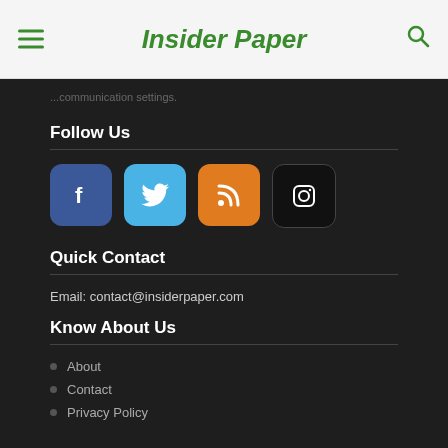Insider Paper
...communication settings.
Follow Us
[Figure (illustration): Four social media icon buttons: Facebook (blue), Twitter (light blue), RSS (orange), Instagram (black)]
Quick Contact
Email: contact@insiderpaper.com
Know About Us
About
Contact
Privacy Policy